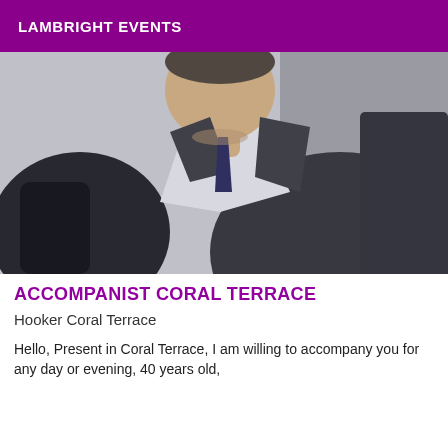LAMBRIGHT EVENTS
[Figure (photo): A man in a dark blazer over a white shirt, photographed from roughly chest up at an angle, with short hair and light stubble, seated in what appears to be a grey chair.]
ACCOMPANIST CORAL TERRACE
Hooker Coral Terrace
Hello, Present in Coral Terrace, I am willing to accompany you for any day or evening, 40 years old,